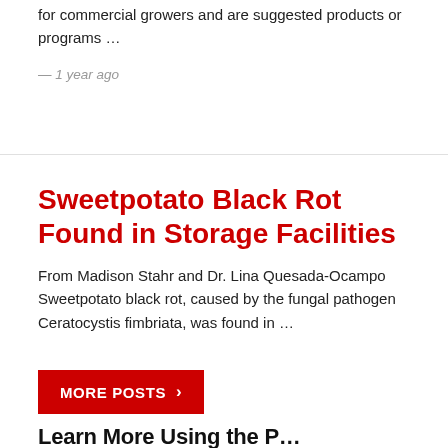for commercial growers and are suggested products or programs …
— 1 year ago
Sweetpotato Black Rot Found in Storage Facilities
From Madison Stahr and Dr. Lina Quesada-Ocampo Sweetpotato black rot, caused by the fungal pathogen Ceratocystis fimbriata, was found in …
— 2 years ago
MORE POSTS
Learn More Using the P…